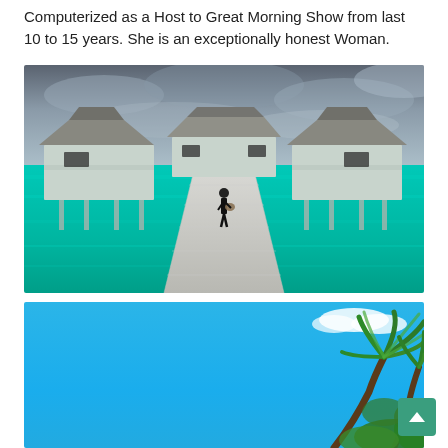Computerized as a Host to Great Morning Show from last 10 to 15 years. She is an exceptionally honest Woman.
[Figure (photo): A person walking on a wooden pier/boardwalk over turquoise tropical water toward overwater bungalows with thatched roofs, under a cloudy sky.]
[Figure (photo): Bright blue sky with green tropical palm trees visible in the lower right corner, ocean scene.]